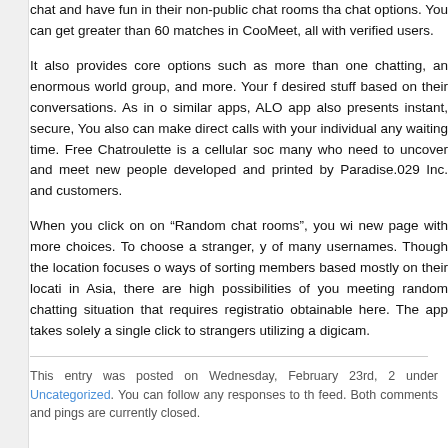chat and have fun in their non-public chat rooms tha chat options. You can get greater than 60 matches in CooMeet, all with verified users.
It also provides core options such as more than one chatting, an enormous world group, and more. Your f desired stuff based on their conversations. As in o similar apps, ALO app also presents instant, secure, You also can make direct calls with your individual any waiting time. Free Chatroulette is a cellular soc many who need to uncover and meet new people developed and printed by Paradise.029 Inc. and customers.
When you click on on “Random chat rooms”, you wi new page with more choices. To choose a stranger, y of many usernames. Though the location focuses o ways of sorting members based mostly on their locati in Asia, there are high possibilities of you meeting random chatting situation that requires registratio obtainable here. The app takes solely a single click to strangers utilizing a digicam.
This entry was posted on Wednesday, February 23rd, 2 under Uncategorized. You can follow any responses to th feed. Both comments and pings are currently closed.